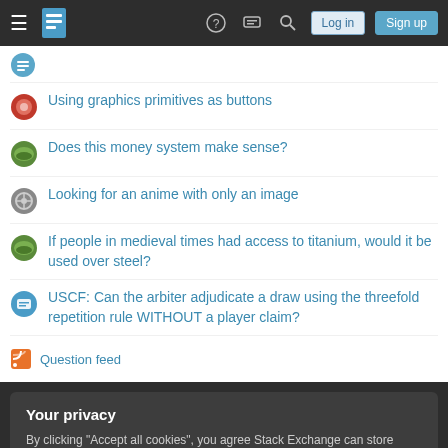Stack Exchange navigation bar with hamburger menu, logo, help, chat, search icons, Log in and Sign up buttons
Using graphics primitives as buttons
Does this money system make sense?
Looking for an anime with only an image
If people in medieval times had access to titanium, would it be used over steel?
USCF: Can the arbiter adjudicate a draw using the threefold repetition rule WITHOUT a player claim?
Question feed
Your privacy
By clicking "Accept all cookies", you agree Stack Exchange can store cookies on your device and disclose information in accordance with our Cookie Policy.
Accept all cookies   Customize settings
STACK EXCHANGE NETWORK